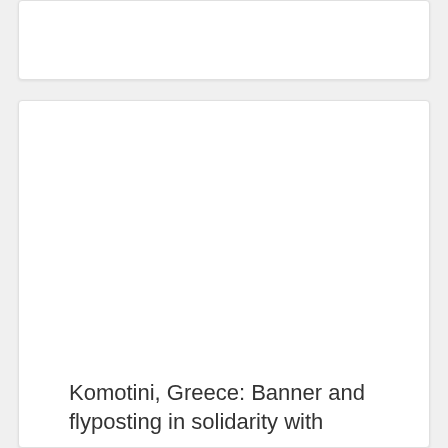[Figure (photo): Top card area showing bottom portion of an image (mostly white/blank visible area)]
[Figure (photo): Large card with a photo (blank/white image area) above a caption]
Komotini, Greece: Banner and flyposting in solidarity with